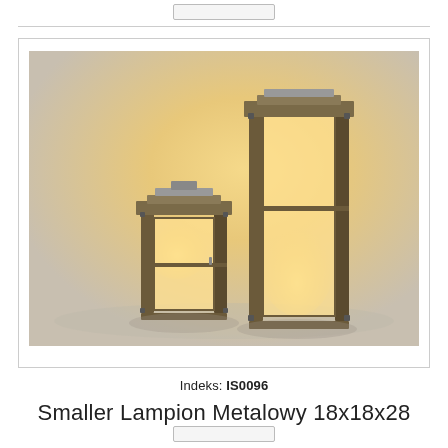[Figure (photo): Two rustic metal lanterns with glass panels glowing with warm candlelight, one small and one tall, placed on a light surface against a warm-lit background.]
Indeks: IS0096
Smaller Lampion Metalowy 18x18x28